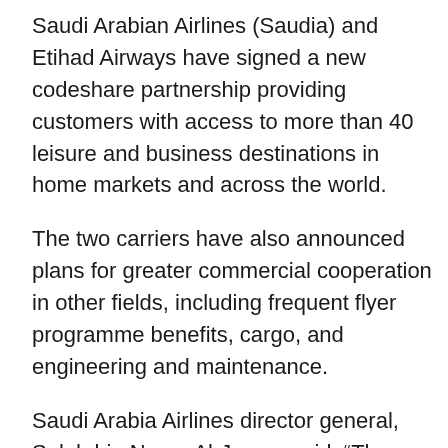Saudi Arabian Airlines (Saudia) and Etihad Airways have signed a new codeshare partnership providing customers with access to more than 40 leisure and business destinations in home markets and across the world.
The two carriers have also announced plans for greater commercial cooperation in other fields, including frequent flyer programme benefits, cargo, and engineering and maintenance.
Saudi Arabia Airlines director general, Saleh bin Naser Al-Jasser said: “The new partnership broadens aviation and transport links with the United Arab Emirates, building on the extensive aviation investment and strong foundation in the sector.
“With the new agreement, the added network coverage enables our guests to benefit from added flexibility and